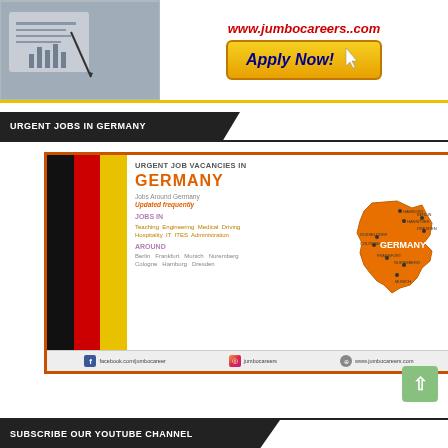[Figure (infographic): Top banner with jumbocareers.com website URL in red italic text on left, calculator/financial image on far left, and 'Apply Now!' button with cursor icon on right side, bordered with yellow line at bottom]
URGENT JOBS IN GERMANY
[Figure (infographic): Advertisement for Urgent Job Vacancies in Germany. Left side shows German flag (black, red, gold stripes). Center text: 'URGENT JOB VACANCIES IN' in grey, 'GERMANY' in orange bold. 'Jobs Around Germany', 'Updated frequently' in orange italic. 'JOBS IN' in purple, categories: Teaching Engineering Medical Driving Hospitality IT ITES Administration AROUND, cities: Berlin Frankfurt Munich Nuremberg Cologne Hamburg Dresden. Right side shows orange map of Germany with city labels. Footer shows Facebook, Instagram, and website links.]
SUBSCRIBE OUR YOUTUBE CHANNEL